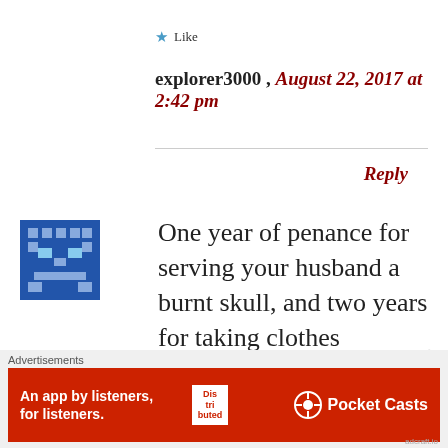★ Like
explorer3000 , August 22, 2017 at 2:42 pm    Reply
One year of penance for serving your husband a burnt skull, and two years for taking clothes
[Figure (illustration): Pixel art avatar icon — blue square with pixelated face/robot design]
Advertisements
An app by listeners, for listeners. Pocket Casts